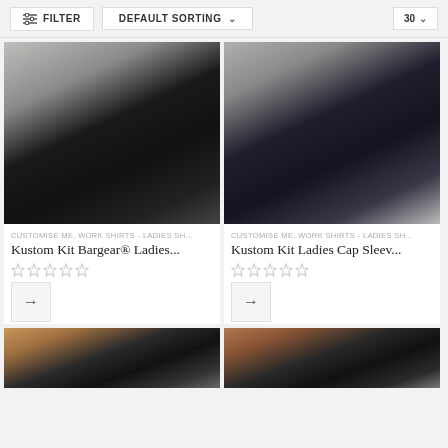FILTER   DEFAULT SORTING   30
[Figure (photo): Woman wearing black short-sleeve collared shirt with hands in pockets, standing against grey background]
CUSTOMISE ME, WORK SHIRTS - LADIES SH...
Kustom Kit Bargear® Ladies...
[Figure (photo): Woman wearing dark navy cap sleeve collarless shirt with pink trousers, standing against grey background]
CUSTOMISE ME, WORK SHIRTS - LADIES SH...
Kustom Kit Ladies Cap Sleev...
[Figure (photo): Woman with long auburn hair and bangs wearing dark shirt, partially visible at bottom of page]
[Figure (photo): Woman with long auburn hair and bangs wearing dark shirt, partially visible at bottom of page]